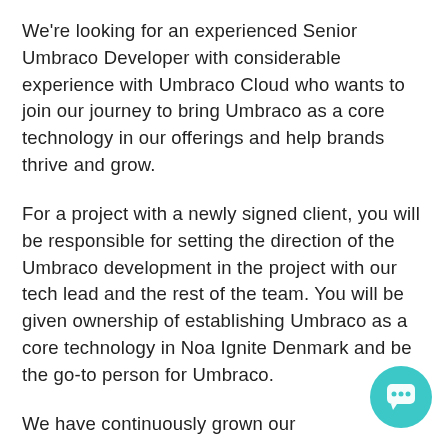We're looking for an experienced Senior Umbraco Developer with considerable experience with Umbraco Cloud who wants to join our journey to bring Umbraco as a core technology in our offerings and help brands thrive and grow.
For a project with a newly signed client, you will be responsible for setting the direction of the Umbraco development in the project with our tech lead and the rest of the team. You will be given ownership of establishing Umbraco as a core technology in Noa Ignite Denmark and be the go-to person for Umbraco.
We have continuously grown our
[Figure (other): Teal circular chat button icon in bottom right corner]